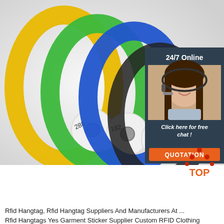[Figure (photo): Three colorful RFID silicone wristbands in yellow, green, and blue with embedded chips showing numbers 288, 182, and partially visible, with a black wristband in the background. Overlaid on the right is a customer service panel showing a smiling woman with a headset, text '24/7 Online', 'Click here for free chat!', and an orange 'QUOTATION' button.]
[Figure (logo): TOP logo with orange dots forming a triangle above the word TOP in orange text]
Rfid Hangtag, Rfid Hangtag Suppliers And Manufacturers At ...
Rfid Hangtags Yes Garment Sticker Supplier Custom RFID Clothing